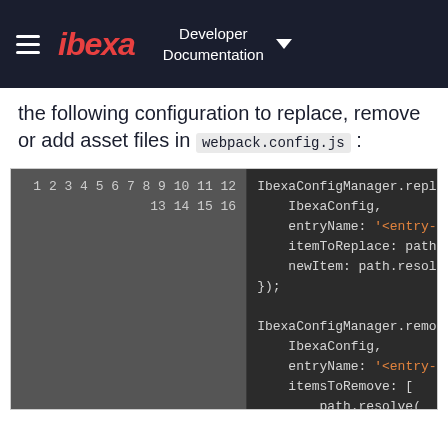ibexa — Developer Documentation
the following configuration to replace, remove or add asset files in webpack.config.js:
[Figure (screenshot): Code block showing IbexaConfigManager.replace() and IbexaConfigManager.remove() JavaScript function calls with line numbers 1-16, using a dark theme code editor style.]